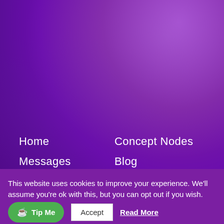Home
Concept Nodes
Messages
Blog
Galactic History
Pleiadian Books
♥ Donate
Contact
VISIT ALL THE SITES ON NINE'S PATH:
NinesPath.com
This website uses cookies to improve your experience. We'll assume you're ok with this, but you can opt out if you wish.
Accept
Read More